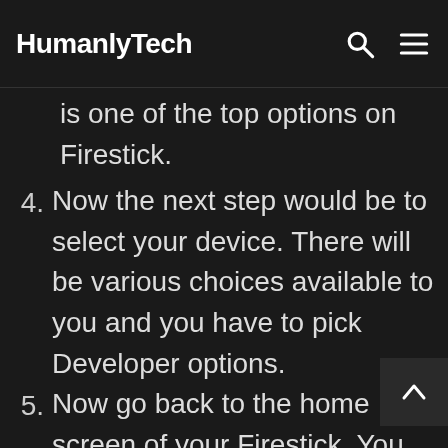HumanlyTech
is one of the top options on Firestick.
4. Now the next step would be to select your device. There will be various choices available to you and you have to pick Developer options.
5. Now go back to the home screen of your Firestick. You are required to search for the downloader. There will be a native search option that will help you here.
6. Find the URL field and enter “www.firesticktricks.com/cf” there.
7. The installation process is going to begin here. If it doesn’t go nicely, you can choose some other website to download the app. Just make sure that